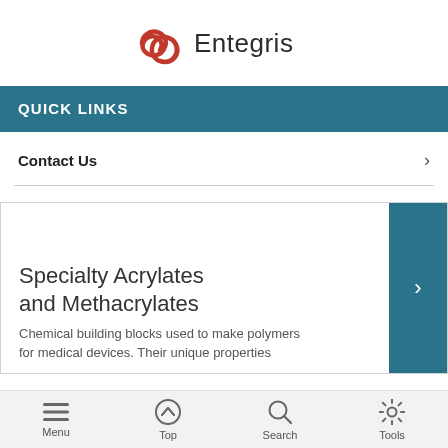[Figure (logo): Entegris company logo with red interlocking loops and dark text]
QUICK LINKS
Contact Us
Specialty Acrylates and Methacrylates
Chemical building blocks used to make polymers for medical devices. Their unique properties
Menu  Top  Search  Tools